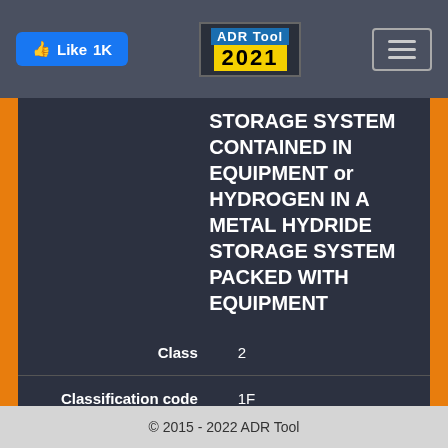[Figure (screenshot): Navigation bar with Like 1K button, ADR Tool 2021 logo, and hamburger menu]
STORAGE SYSTEM CONTAINED IN EQUIPMENT or HYDROGEN IN A METAL HYDRIDE STORAGE SYSTEM PACKED WITH EQUIPMENT
| Class | 2 |
| Classification code | 1F |
| Packing group |  |
© 2015 - 2022 ADR Tool